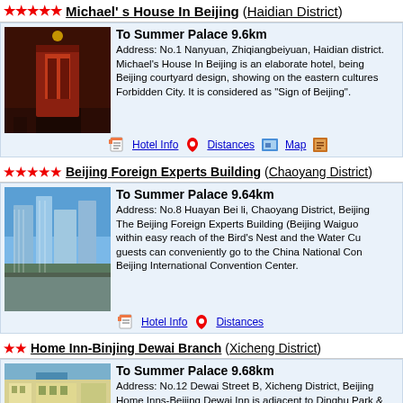★★★★★ Michael's House In Beijing (Haidian District)
To Summer Palace 9.6km
Address: No.1 Nanyuan, Zhiqiangbeiyuan, Haidian district. Michael's House In Beijing is an elaborate hotel, being Beijing courtyard design, showing on the eastern cultures Forbidden City. It is considered as "Sign of Beijing".
★★★★★ Beijing Foreign Experts Building (Chaoyang District)
To Summer Palace 9.64km
Address: No.8 Huayan Bei li, Chaoyang District, Beijing. The Beijing Foreign Experts Building (Beijing Waiguo within easy reach of the Bird's Nest and the Water Cu guests can conveniently go to the China National Con Beijing International Convention Center.
★★ Home Inn-Binjing Dewai Branch (Xicheng District)
To Summer Palace 9.68km
Address: No.12 Dewai Street B, Xicheng District, Beijing. Home Inns-Beijing Dewai Inn is adjacent to Dinghu Park. It abuts to Xizhimen Commercial Street, Fulite Business distance bus station. The hotel opened in 2006.